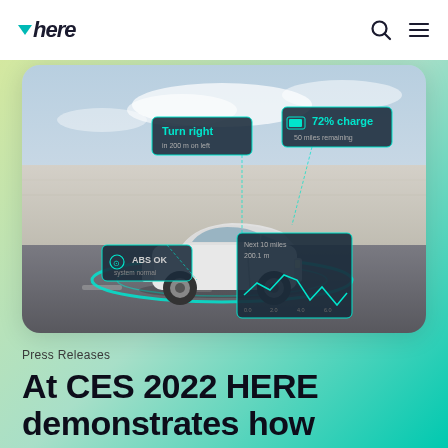here (logo) with search and menu icons
[Figure (photo): White Audi electric SUV driving on a road with augmented reality overlay panels showing navigation info (Turn right), battery info (72% charge), ABS status, and a route elevation chart. A teal/cyan sensor detection arc is shown around the car.]
Press Releases
At CES 2022 HERE demonstrates how